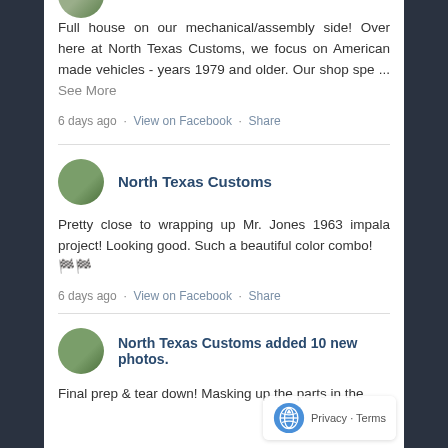[Figure (photo): Circular avatar showing green vehicle/trike, partially cropped at top]
Full house on our mechanical/assembly side! Over here at North Texas Customs, we focus on American made vehicles - years 1979 and older. Our shop spe ... See More
6 days ago · View on Facebook · Share
[Figure (photo): Circular avatar showing green vehicle/trike for North Texas Customs]
North Texas Customs
Pretty close to wrapping up Mr. Jones 1963 impala project! Looking good. Such a beautiful color combo! 🏁🏁
6 days ago · View on Facebook · Share
[Figure (photo): Circular avatar showing green vehicle/trike for North Texas Customs]
North Texas Customs added 10 new photos.
Final prep & tear down! Masking up the parts in the